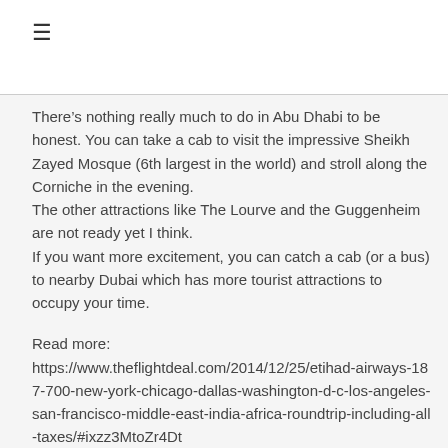≡
There's nothing really much to do in Abu Dhabi to be honest. You can take a cab to visit the impressive Sheikh Zayed Mosque (6th largest in the world) and stroll along the Corniche in the evening.
The other attractions like The Lourve and the Guggenheim are not ready yet I think.
If you want more excitement, you can catch a cab (or a bus) to nearby Dubai which has more tourist attractions to occupy your time.
Read more:
https://www.theflightdeal.com/2014/12/25/etihad-airways-187-700-new-york-chicago-dallas-washington-d-c-los-angeles-san-francisco-middle-east-india-africa-roundtrip-including-all-taxes/#ixzz3MtoZr4Dt